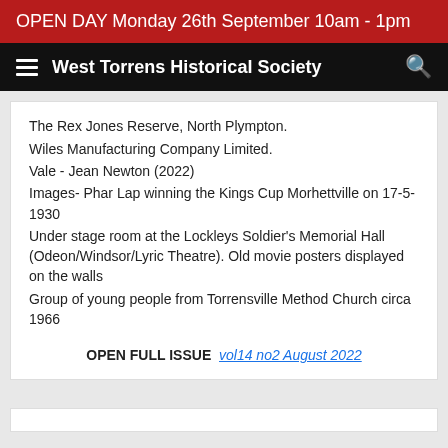OPEN DAY Monday 26th September 10am - 1pm
West Torrens Historical Society
The Rex Jones Reserve, North Plympton.
Wiles Manufacturing Company Limited.
Vale - Jean Newton (2022)
Images- Phar Lap winning the Kings Cup Morhettville on 17-5-1930
Under stage room at the Lockleys Soldier's Memorial Hall (Odeon/Windsor/Lyric Theatre). Old movie posters displayed on the walls
Group of young people from Torrensville Method Church circa 1966
OPEN FULL ISSUE  vol14 no2  August 2022